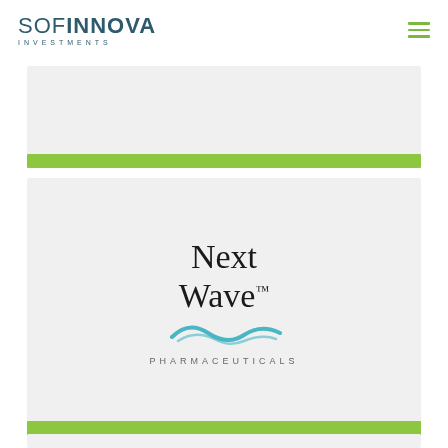SOFINNOVA INVESTMENTS
[Figure (logo): NextWave Pharmaceuticals logo with stylized wave graphic and company name in serif font]
[Figure (other): Grey card placeholder area at bottom of page, partially visible]